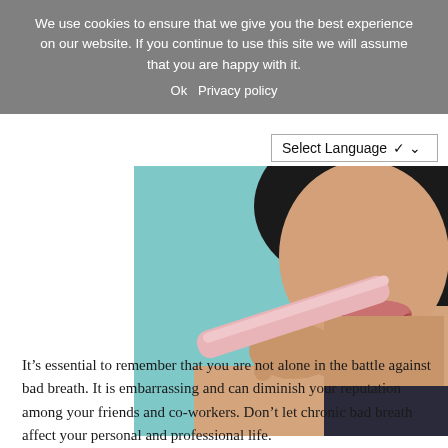We use cookies to ensure that we give you the best experience on our website. If you continue to use this site we will assume that you are happy with it.
Ok   Privacy policy
Select Language
[Figure (photo): Close-up of a woman holding a pink tongue scraper or tongue cleaner near her open mouth, with a teal/light blue background and dark hair visible.]
It’s essential to remember that you are not alone in the battle against bad breath. It is embarrassing and can diminish your reputation among your friends and co-workers. Don’t let chronic bad breath affect your personal and professional life.